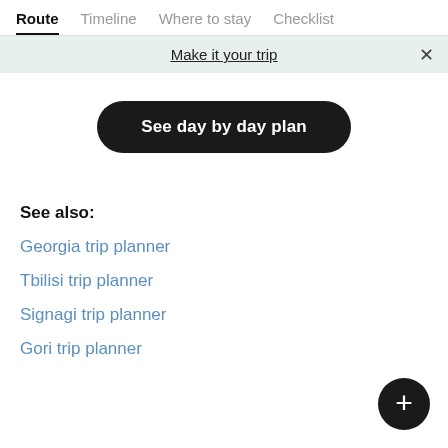Route  Timeline  Where to stay  Checklist
Make it your trip
See day by day plan
See also:
Georgia trip planner
Tbilisi trip planner
Signagi trip planner
Gori trip planner